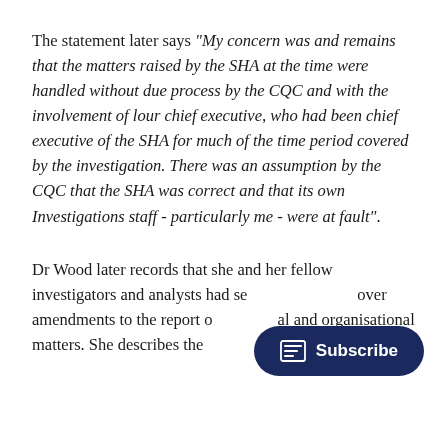The statement later says "My concern was and remains that the matters raised by the SHA at the time were handled without due process by the CQC and with the involvement of lour chief executive, who had been chief executive of the SHA for much of the time period covered by the investigation. There was an assumption by the CQC that the SHA was correct and that its own Investigations staff - particularly me - were at fault".
Dr Wood later records that she and her fellow investigators and analysts had se[…] over amendments to the report o[…]al and organisational matters. She describes the